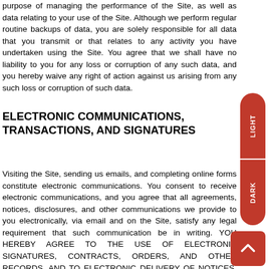purpose of managing the performance of the Site, as well as data relating to your use of the Site. Although we perform regular routine backups of data, you are solely responsible for all data that you transmit or that relates to any activity you have undertaken using the Site. You agree that we shall have no liability to you for any loss or corruption of any such data, and you hereby waive any right of action against us arising from any such loss or corruption of such data.
ELECTRONIC COMMUNICATIONS, TRANSACTIONS, AND SIGNATURES
Visiting the Site, sending us emails, and completing online forms constitute electronic communications. You consent to receive electronic communications, and you agree that all agreements, notices, disclosures, and other communications we provide to you electronically, via email and on the Site, satisfy any legal requirement that such communication be in writing. YOU HEREBY AGREE TO THE USE OF ELECTRONIC SIGNATURES, CONTRACTS, ORDERS, AND OTHER RECORDS, AND TO ELECTRONIC DELIVERY OF NOTICES, POLICIES, AND RECORDS OF TRANSACTIONS INITIATED OR